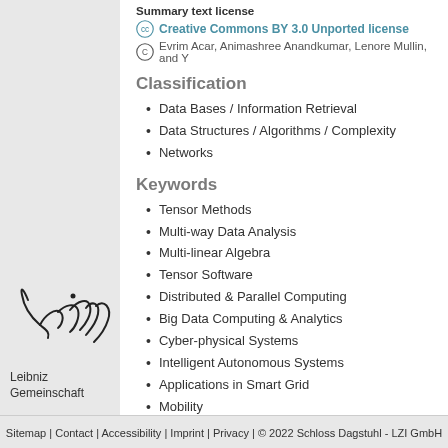Summary text license
Creative Commons BY 3.0 Unported license
Evrim Acar, Animashree Anandkumar, Lenore Mullin, and Y
Classification
Data Bases / Information Retrieval
Data Structures / Algorithms / Complexity
Networks
Keywords
Tensor Methods
Multi-way Data Analysis
Multi-linear Algebra
Tensor Software
Distributed & Parallel Computing
Big Data Computing & Analytics
Cyber-physical Systems
Intelligent Autonomous Systems
Applications in Smart Grid
Mobility
Smart City
[Figure (logo): Leibniz Gemeinschaft handwritten logo with text]
Sitemap | Contact | Accessibility | Imprint | Privacy | © 2022 Schloss Dagstuhl - LZI GmbH